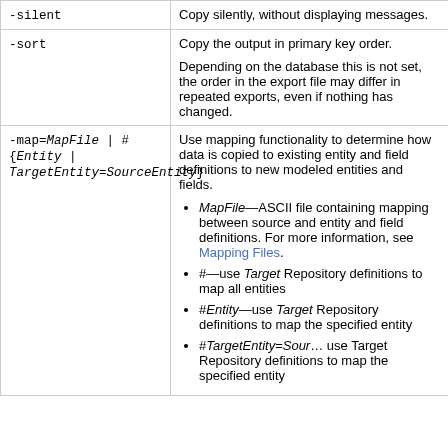| Parameter | Description |
| --- | --- |
| -silent | Copy silently, without displaying messages. |
| -sort | Copy the output in primary key order.

Depending on the database this is not set, the order in the export file may differ in repeated exports, even if nothing has changed. |
| -map=MapFile | #{Entity | TargetEntity=SourceEntity} | Use mapping functionality to determine how data is copied to existing entity and field definitions to new modeled entities and fields.
• MapFile—ASCII file containing mapping between source and entity and field definitions. For more information, see Mapping Files.
• #—use Target Repository definitions to map all entities
• #Entity—use Target Repository definitions to map the specified entity
• #TargetEntity=SourceEntity—use Target Repository definitions to map the specified entity |